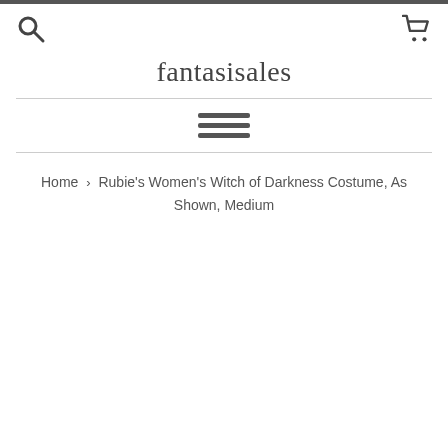fantasisales
Home › Rubie's Women's Witch of Darkness Costume, As Shown, Medium